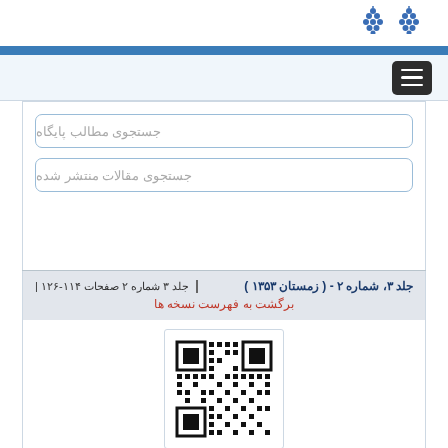جستجوی مطالب پایگاه
جستجوی مقالات منتشر شده
جلد ۳، شماره ۲ - ( زمستان ۱۳۵۳ ) | جلد ۳ شماره ۲ صفحات ۱۱۴-۱۲۶ |
برگشت به فهرست نسخه ها
[Figure (other): QR code image]